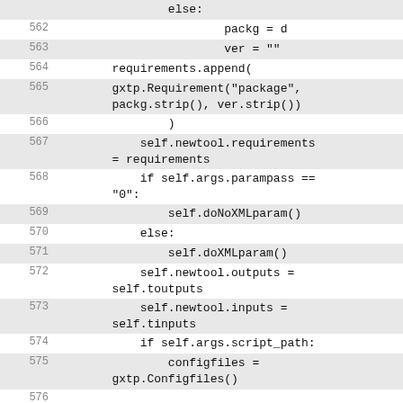561 (partial): else:
562: packg = d
563: ver = ""
564: requirements.append(
565: gxtp.Requirement("package", packg.strip(), ver.strip())
566: )
567: self.newtool.requirements = requirements
568: if self.args.parampass == "0":
569: self.doNoXMLparam()
570: else:
571: self.doXMLparam()
572: self.newtool.outputs = self.toutputs
573: self.newtool.inputs = self.tinputs
574: if self.args.script_path:
575: configfiles = gxtp.Configfiles()
576: configfiles.append(gxtp.Configfile( text=self.script))
577: self.newtool.configfiles = configfiles
578: tests = gxtp.Tests()